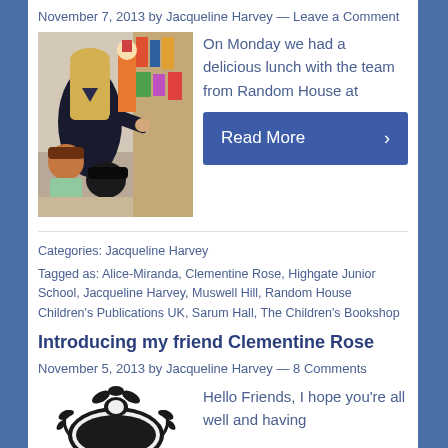November 7, 2013 by Jacqueline Harvey — Leave a Comment
[Figure (photo): A woman with blonde hair interacting with children in a classroom setting, with book displays in the background]
On Monday we had a delicious lunch with the team from Random House at
Read More ›
Categories: Jacqueline Harvey
Tagged as: Alice-Miranda, Clementine Rose, Highgate Junior School, Jacqueline Harvey, Muswell Hill, Random House Children's Publications UK, Sarum Hall, The Children's Bookshop
Introducing my friend Clementine Rose
November 5, 2013 by Jacqueline Harvey — 8 Comments
[Figure (illustration): Black and white illustration of a decorative badge or emblem with leaf/floral motifs]
Hello Friends, I hope you're all well and having